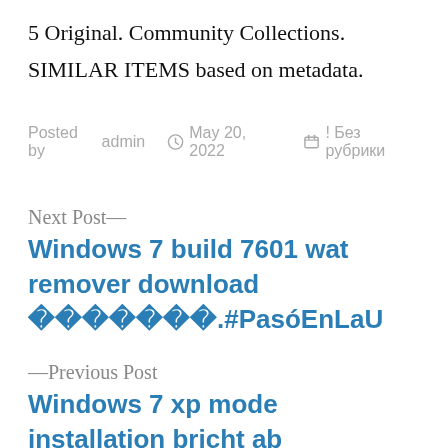5 Original. Community Collections.
SIMILAR ITEMS based on metadata.
Posted by admin  May 20, 2022  ! Без рубрики
Next Post—
Windows 7 build 7601 wat remover download 󰀀󰀀󰀀󰀀󰀀󰀀󰀀.#PasóEnLaU
—Previous Post
Windows 7 xp mode installation bricht ab 󰀀󰀀󰀀󰀀󰀀󰀀󰀀.XP󰀀󰀀󰀀󰀀󰀀󰀀󰀀󰀀󰀀